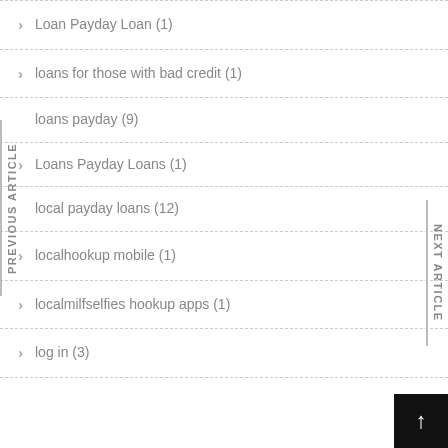Loan Payday Loan (1)
loans for those with bad credit (1)
loans payday (9)
Loans Payday Loans (1)
local payday loans (12)
localhookup mobile (1)
localmilfselfies hookup apps (1)
log in (3)